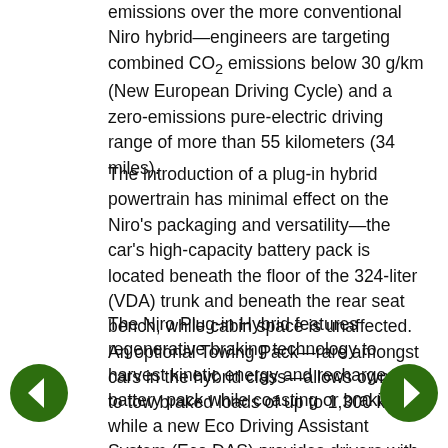emissions over the more conventional Niro hybrid—engineers are targeting combined CO2 emissions below 30 g/km (New European Driving Cycle) and a zero-emissions pure-electric driving range of more than 55 kilometers (34 miles).
The introduction of a plug-in hybrid powertrain has minimal effect on the Niro's packaging and versatility—the car's high-capacity battery pack is located beneath the floor of the 324-liter (VDA) trunk and beneath the rear seat bench, while cabin space is unaffected. An optional Towing Pack—rare amongst cars in the hybrid class—allows owners to tow braked loads of up to 1,300 kg.
The Niro Plug-in Hybrid features regenerative braking technology to harvest kinetic energy and recharge the battery pack while coasting or braking, while a new Eco Driving Assistant System (Eco DAS) provides drivers with intelligent guidance on how to drive more efficiently under current conditions. Eco DAS includes Coasting Guide Control (CGC) and Predictive Energy Control (PEC), enabling drivers to maximize fuel mileage by...
[Figure (other): Left navigation arrow button (dark green circle with white left-pointing arrow)]
[Figure (other): Right navigation arrow button (dark green circle with white right-pointing arrow)]